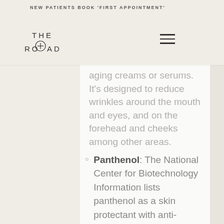NEW PATIENTS BOOK 'FIRST APPOINTMENT'
[Figure (logo): The Road dental/medical clinic logo with circular compass-like symbol]
aging creams or serums. It's designed to reduce wrinkles around the mouth and eyes, and on the forehead and cheeks among other areas.
Panthenol: The National Center for Biotechnology Information lists panthenol as a skin protectant with anti-inflammatory properties. It can help improve skin's hydration, elasticity, and smooth appearance. It also soothes red skin.